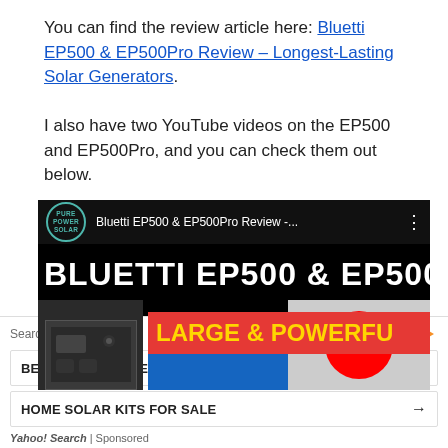You can find the review article here: Bluetti EP500 & EP500Pro Review – Longest-Lasting Solar Generators.
I also have two YouTube videos on the EP500 and EP500Pro, and you can check them out below.
[Figure (screenshot): YouTube video thumbnail for 'Bluetti EP500 & EP500Pro Review -...' showing the Pure Power Solar channel icon, bold white text 'BLUETTI EP500 & EP500PRO' on black background, a red banner with yellow text 'LARGE & POWERFU', a blue section, a device image on the left, and a YouTube play button.]
[Figure (screenshot): Yahoo Search sponsored ad section with 'Search for' header, two search result items: 'BEST SOLAR GENERATORS' and 'HOME SOLAR KITS FOR SALE', each with a right arrow, and a 'Yahoo! Search | Sponsored' footer.]